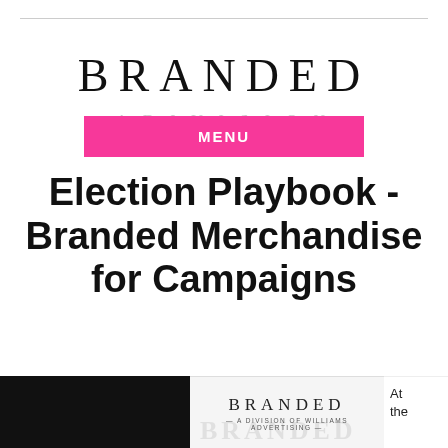BRANDED
MENU
Election Playbook - Branded Merchandise for Campaigns
[Figure (screenshot): Bottom strip showing a black image panel on the left, a Branded logo card in the center with 'BRANDED - A DIVISION OF WILLIAMS ADVERTISING -' and a faint 'BRANDED' watermark, and text 'At the' on the right.]